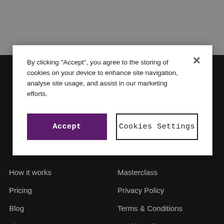By clicking "Accept", you agree to the storing of cookies on your device to enhance site navigation, analyse site usage, and assist in our marketing efforts.
Accept
Cookies Settings
How it works
Masterclass
Pricing
Privacy Policy
Blog
Terms & Conditions
About
Cookie Policy
Contact us